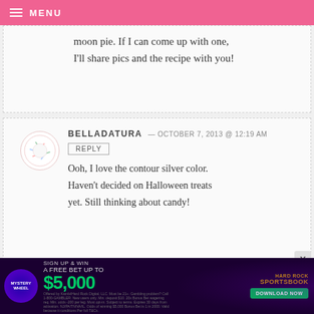MENU
moon pie. If I can come up with one, I'll share pics and the recipe with you!
BELLADATURA — OCTOBER 7, 2013 @ 12:19 AM
REPLY
Ooh, I love the contour silver color. Haven't decided on Halloween treats yet. Still thinking about candy!
BETHANY — OCTOBER 7, 2013 @ 12:19 AM REPLY
[Figure (infographic): Hard Rock Sportsbook advertisement banner: Mystery Wheel - Sign Up & Win a Free Bet Up to $5,000 - Download Now]